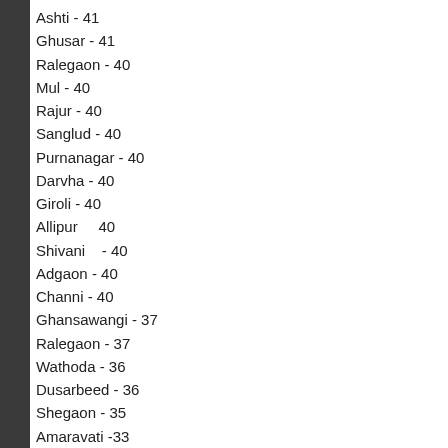Ashti - 41
Ghusar - 41
Ralegaon - 40
Mul - 40
Rajur - 40
Sanglud - 40
Purnanagar - 40
Darvha - 40
Giroli - 40
Allipur    40
Shivani    - 40
Adgaon - 40
Channi - 40
Ghansawangi - 37
Ralegaon - 37
Wathoda - 36
Dusarbeed - 36
Shegaon - 35
Amaravati -33
Walgaon - 33
Gadchiroli - 32
Chittepimpalgaon - 32
Badanera - 32
Sarsam - 31
Thilori - 30